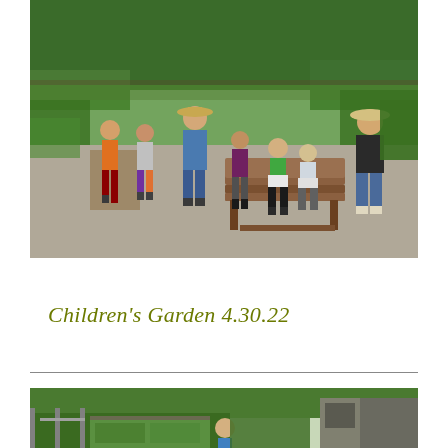[Figure (photo): Children and an adult instructor gathered in a community garden. Several children stand or sit on a wooden bench on a gravel path. Two adults in wide-brimmed hats interact with the group. Garden beds with plants and trees visible in the background.]
Children's Garden 4.30.22
[Figure (photo): Partial view of a community garden with raised beds, green plants, fencing, and a shed. A child is visible in the foreground.]